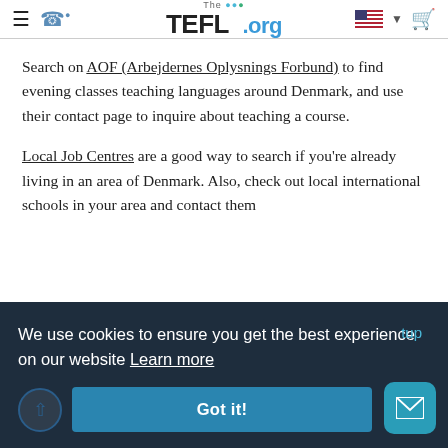The TEFL.org — navigation header
Search on AOF (Arbejdernes Oplysnings Forbund) to find evening classes teaching languages around Denmark, and use their contact page to inquire about teaching a course.
Local Job Centres are a good way to search if you're already living in an area of Denmark. Also, check out local international schools in your area and contact them
We use cookies to ensure you get the best experience on our website Learn more
Got it!